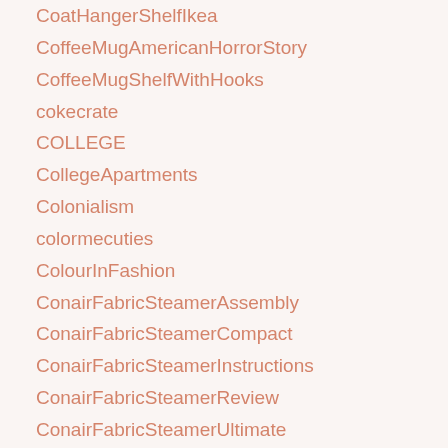CoatHangerShelfIkea
CoffeeMugAmericanHorrorStory
CoffeeMugShelfWithHooks
cokecrate
COLLEGE
CollegeApartments
Colonialism
colormecuties
ColourInFashion
ConairFabricSteamerAssembly
ConairFabricSteamerCompact
ConairFabricSteamerInstructions
ConairFabricSteamerReview
ConairFabricSteamerUltimate
ConflictFreeDiamonds